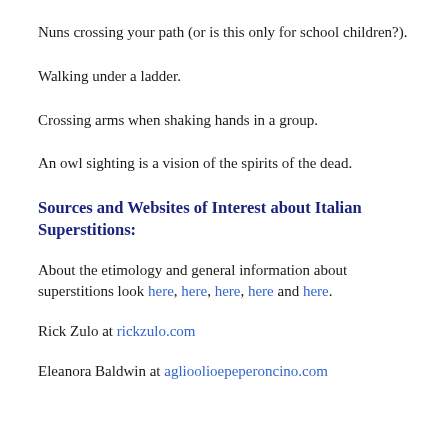Nuns crossing your path (or is this only for school children?).
Walking under a ladder.
Crossing arms when shaking hands in a group.
An owl sighting is a vision of the spirits of the dead.
Sources and Websites of Interest about Italian Superstitions:
About the etimology and general information about superstitions look here, here, here, here and here.
Rick Zulo at rickzulo.com
Eleanora Baldwin at aglioolioepeperoncino.com